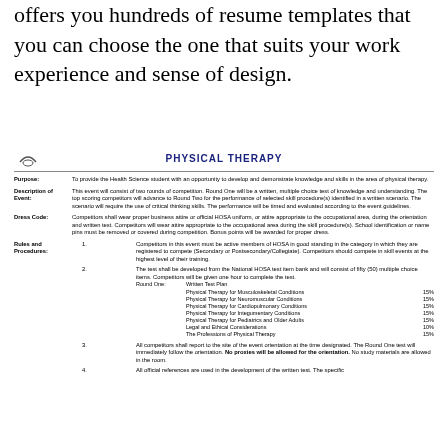offers you hundreds of resume templates that you can choose the one that suits your work experience and sense of design.
PHYSICAL THERAPY
Purpose: To provide the Health Science student with an opportunity to develop and demonstrate knowledge and skills in the area of physical therapy.
Description of Event: This event will consist of two rounds of competition. Round One will be a written, multiple choice test of knowledge and understanding. The top scoring competitors will advance to Round Two for the performance of selected skill procedure(s) identified in a written scenario. The scenario will require the use of critical thinking skills. The performance will be timed and evaluated according to the event guidelines.
Dress Code: Competitors shall wear proper business attire or official HOSA uniform, or attire appropriate to the occupational area, during the orientation and written test. Competitors will wear attire appropriate to the occupational area during the skill procedure(s). School identification or name pins must be removed or covered during competition. Bonus points will be awarded for proper dress.
Rules and Procedures: 1. Competitors in this event must be active members of HOSA in good standing in the category in which they are registered to compete (Secondary or Postsecondary/Collegiate). Competitors should compete in skill events at the highest level of their training.
2. The test shall be developed from the National HOSA test item bank and will consist of fifty (50) multiple choice items. Competitors will be given one hour to complete the test. Round One: Written Test Plan Physical Therapy for Musculoskeletal Conditions 15%, Physical Therapy for Neuromuscular Conditions 15%, Physical Therapy for Cardiopulmonary Conditions 15%, Physical Therapy for Integumentary Conditions 15%, Physical Therapy for Pediatrics and Older Adults 15%, Legal and Ethical Considerations 10%, The Professions of Physical Therapy 15%
3. All competitors shall report to the site of the event orientation at the time designated. The Round One test will immediately follow the orientation. No proxies will be allowed for the orientation. No study materials are allowed in the room.
4. All official references are used in the development of the written test. The specific